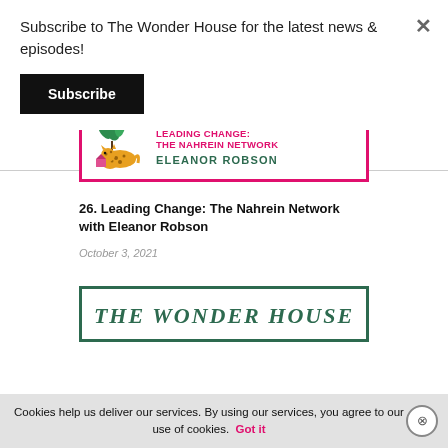Subscribe to The Wonder House for the latest news & episodes!
Subscribe
[Figure (screenshot): Podcast episode cover art for 'Leading Change: The Nahrein Network' featuring Eleanor Robson. Shows a person in dark clothing at top, and a leopard illustration with plants and a small house below, next to pink text reading 'LEADING CHANGE: THE NAHREIN NETWORK' and green text reading 'ELEANOR ROBSON'. Bordered with bright pink/magenta.]
26. Leading Change: The Nahrein Network with Eleanor Robson
October 3, 2021
[Figure (screenshot): Podcast card for 'The Wonder House' with dark green italic serif text on white background, bordered in dark green.]
Cookies help us deliver our services. By using our services, you agree to our use of cookies.  Got it